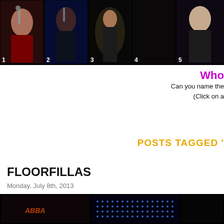[Figure (photo): A horizontal strip of 5 concert/performance photos of female singers, each numbered 1-5, against a black background.]
Who...
Can you name the...
(Click on...
POSTS TAGGED '...
FLOORFILLAS
Monday, July 8th, 2013
[Figure (photo): A row of concert/performance thumbnails against a black background, showing what appears to be stage lighting and performer photos.]